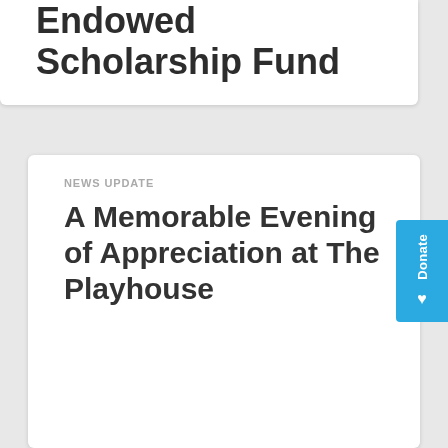Endowed Scholarship Fund
NEWS UPDATE
A Memorable Evening of Appreciation at The Playhouse